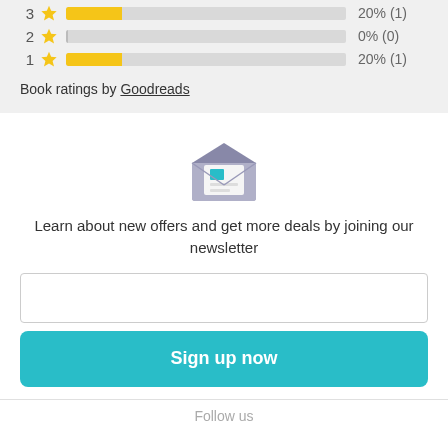[Figure (bar-chart): Book ratings (partial)]
Book ratings by Goodreads
[Figure (illustration): Open envelope icon for newsletter signup]
Learn about new offers and get more deals by joining our newsletter
Sign up now
Follow us